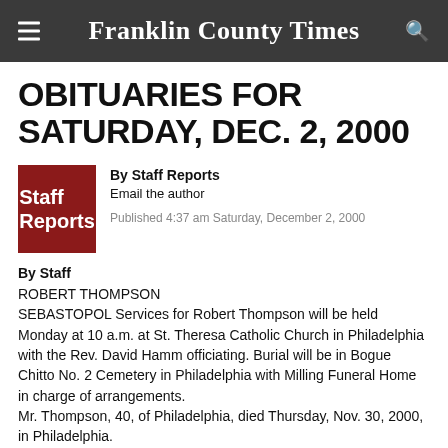Franklin County Times
OBITUARIES FOR SATURDAY, DEC. 2, 2000
By Staff Reports
Email the author
Published 4:37 am Saturday, December 2, 2000
By Staff
ROBERT THOMPSON
SEBASTOPOL Services for Robert Thompson will be held Monday at 10 a.m. at St. Theresa Catholic Church in Philadelphia with the Rev. David Hamm officiating. Burial will be in Bogue Chitto No. 2 Cemetery in Philadelphia with Milling Funeral Home in charge of arrangements.
Mr. Thompson, 40, of Philadelphia, died Thursday, Nov. 30, 2000, in Philadelphia.
Survivors include his mother, Gladys John of Philadelphia; four sisters, Sherry Greaves and Joanne Thompson, both of